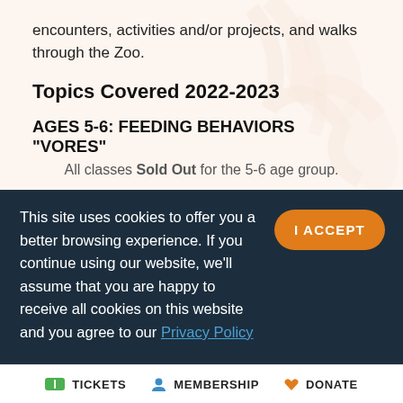encounters, activities and/or projects, and walks through the Zoo.
Topics Covered 2022-2023
AGES 5-6: FEEDING BEHAVIORS "VORES"
All classes Sold Out for the 5-6 age group.
AGES 7-8: ANIMAL ODDBALLS
This site uses cookies to offer you a better browsing experience. If you continue using our website, we'll assume that you are happy to receive all cookies on this website and you agree to our Privacy Policy
TICKETS  MEMBERSHIP  DONATE